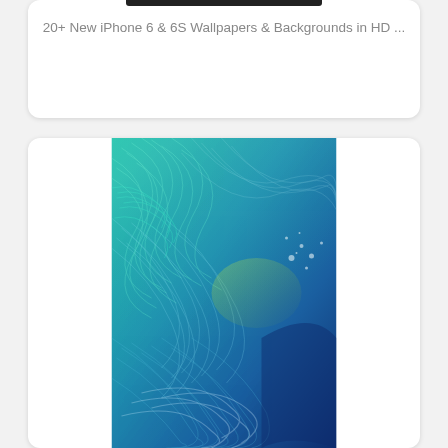20+ New iPhone 6 & 6S Wallpapers & Backgrounds in HD ...
[Figure (photo): Teal and blue abstract swirling feather/wave texture wallpaper image for iPhone]